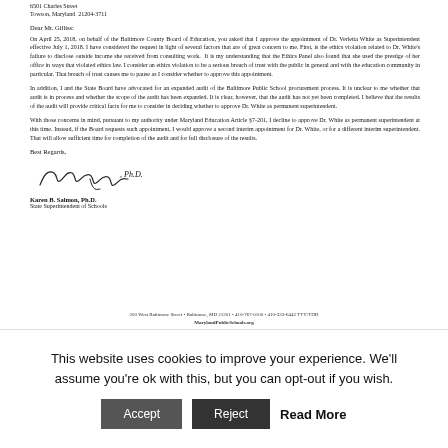6501 Charles Street
Towson, Maryland  21204-3711
Dear Mr. Gilliss:
On April 25, 2018, on behalf of the Baltimore County Board of Education, you asked that I approve the appointment of Dr. Verletta White as Superintendent effective July 1, 2018. I have considered the request in light of several factors that are of great concern to me. First, is the ethics violation related to Dr. White's failure to disclose outside income she received from consulting work. It is my understanding that the Ethics Panel also found that she used the prestige of her office in ways that violated ethics law. I consider an ethics violation to be a serious breach of trust with the public in general and with the education community in particular. That breach of trust causes me to pause as I consider whether to approve this appointment.
In addition, I and the State Board have advocated for an expanded audit of the Baltimore Public School procurement process. It is unclear to me whether that audit is in process and whether the scope of the audit has been expanded. It is clear, however, that the audit has not yet been completed. I believe that the results of the audit will provide critical facts for me to consider in deciding whether to approve Dr. White as permanent superintendent.
With those concerns in mind, pursuant to my authority under Maryland Education Article §7-201, I decline to approve Dr. White as permanent superintendent at this time. Instead, if the Board requests such appointment, I would approve a second interim appointment for Dr. White, or for a different interim superintendent. That will allow sufficient time for completion of the audit and for full disclosure of the results.
Best Regards,
[Figure (other): Handwritten signature of Karen B. Salmon, Ph.D.]
Karen B. Salmon, Ph.D.
State Superintendent of Schools
200 West Baltimore Street • Baltimore, MD 21201 • 410-767-0100 • 410-333-6442 TTY/TDD
MarylandPublicSchools.org
This website uses cookies to improve your experience. We'll assume you're ok with this, but you can opt-out if you wish.